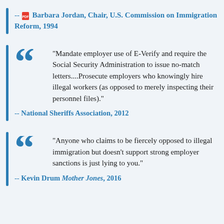-- Barbara Jordan, Chair, U.S. Commission on Immigration Reform, 1994
"Mandate employer use of E-Verify and require the Social Security Administration to issue no-match letters....Prosecute employers who knowingly hire illegal workers (as opposed to merely inspecting their personnel files)."
-- National Sheriffs Association, 2012
"Anyone who claims to be fiercely opposed to illegal immigration but doesn't support strong employer sanctions is just lying to you."
-- Kevin Drum Mother Jones, 2016